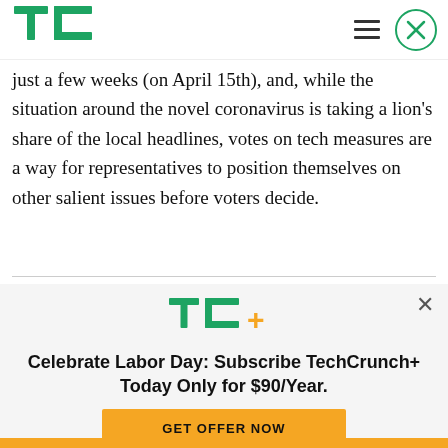TechCrunch
just a few weeks (on April 15th), and, while the situation around the novel coronavirus is taking a lion's share of the local headlines, votes on tech measures are a way for representatives to position themselves on other salient issues before voters decide.
[Figure (infographic): TC+ subscription promotion banner with TechCrunch+ logo, headline 'Celebrate Labor Day: Subscribe TechCrunch+ Today Only for $90/Year.' and 'GET OFFER NOW' button]